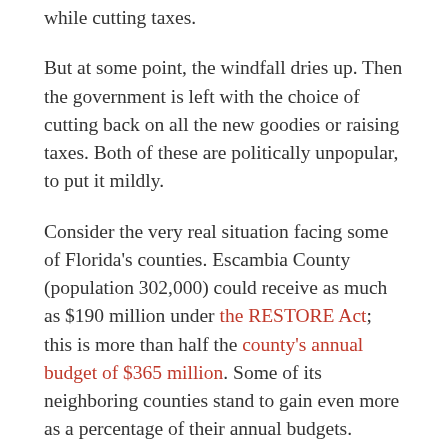while cutting taxes.
But at some point, the windfall dries up. Then the government is left with the choice of cutting back on all the new goodies or raising taxes. Both of these are politically unpopular, to put it mildly.
Consider the very real situation facing some of Florida's counties. Escambia County (population 302,000) could receive as much as $190 million under the RESTORE Act; this is more than half the county's annual budget of $365 million. Some of its neighboring counties stand to gain even more as a percentage of their annual budgets.
What can Escambia County do with this windfall? On the one hand, they could spread it across, say, five years, increasing annual spending by about ten percent or cutting taxes by the same. They could conceivably eliminate their local option sales tax…